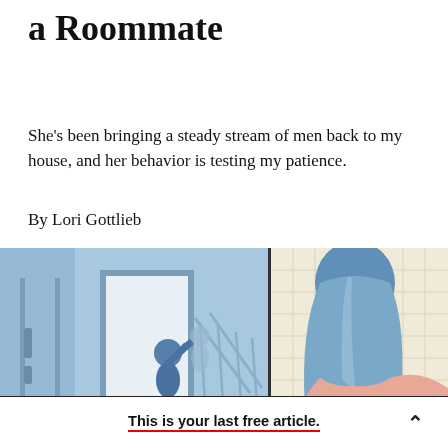a Roommate
She's been bringing a steady stream of men back to my house, and her behavior is testing my patience.
By Lori Gottlieb
[Figure (illustration): Illustration showing two figures near a staircase in a house. On the left panel: a blue-tinted interior hallway with a door and a person in blue clothing on the stairs. On the right panel: a woman with long blue hair and pink top seen from behind against a tiled wall background.]
This is your last free article.